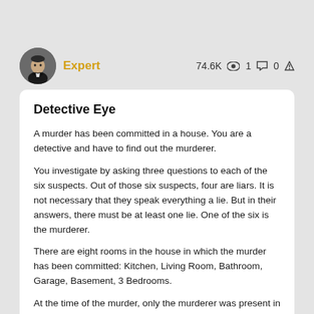[Figure (photo): Circular avatar photo of a man in dark clothing, resembling Sherlock Holmes style]
Expert
74.6K 👁 1 💬 0 🔼
Detective Eye
A murder has been committed in a house. You are a detective and have to find out the murderer.
You investigate by asking three questions to each of the six suspects. Out of those six suspects, four are liars. It is not necessary that they speak everything a lie. But in their answers, there must be at least one lie. One of the six is the murderer.
There are eight rooms in the house in which the murder has been committed: Kitchen, Living Room, Bathroom, Garage, Basement, 3 Bedrooms.
At the time of the murder, only the murderer was present in the killing room. Any number of people can be present in any of the other rooms at the same time.